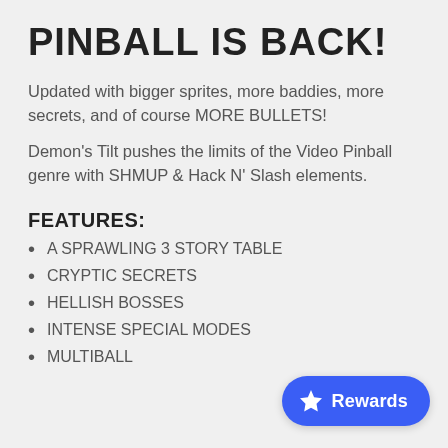PINBALL IS BACK!
Updated with bigger sprites, more baddies, more secrets, and of course MORE BULLETS!
Demon's Tilt pushes the limits of the Video Pinball genre with SHMUP & Hack N' Slash elements.
FEATURES:
A SPRAWLING 3 STORY TABLE
CRYPTIC SECRETS
HELLISH BOSSES
INTENSE SPECIAL MODES
MULTIBALL
[Figure (other): Blue rounded pill button with a star icon and 'Rewards' text]